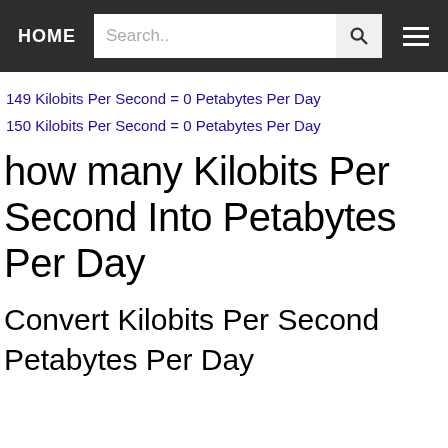HOME | Search.. | [search button] | [menu]
149 Kilobits Per Second = 0 Petabytes Per Day
150 Kilobits Per Second = 0 Petabytes Per Day
how many Kilobits Per Second Into Petabytes Per Day
Convert Kilobits Per Second
Petabytes Per Day